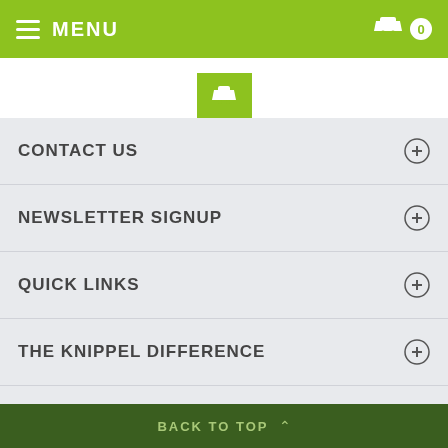MENU
CONTACT US
NEWSLETTER SIGNUP
QUICK LINKS
THE KNIPPEL DIFFERENCE
PETER KNIPPEL GARDEN CENTRE © 2022. All Rights Reserved.
BACK TO TOP